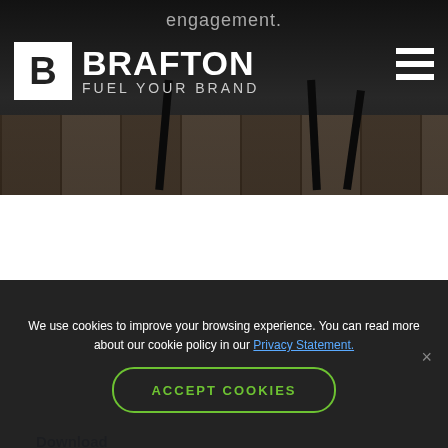[Figure (photo): Brafton website header showing logo, tagline 'engagement.', navigation hamburger menu, and dark background with table legs and wooden floor]
Download the Case Study (PDF)
HIGHLIGHTS
Blog pageviews increased 17 percent quarter-over-quarter
Overall traffic increased 76 percent
We use cookies to improve your browsing experience. You can read more about our cookie policy in our Privacy Statement.
ACCEPT COOKIES